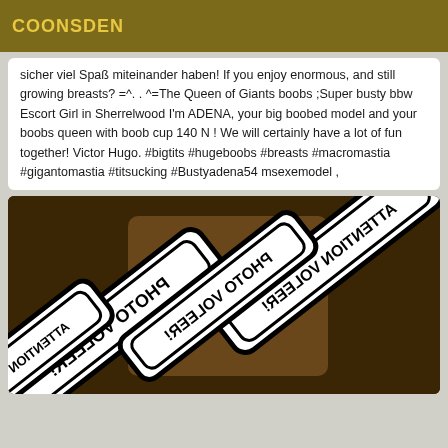COONSDEN
sicher viel Spaß miteinander haben! If you enjoy enormous, and still growing breasts? =^. . ^=The Queen of Giants boobs ;Super busty bbw Escort Girl in Sherrelwood I'm ADENA, your big boobed model and your boobs queen with boob cup 140 N ! We will certainly have a lot of fun together! Victor Hugo. #bigtits #hugeboobs #breasts #macromastia #gigantomastia #titsucking #Bustyadena54 msexemodel ,
[Figure (photo): A close-up image showing overlapping black and white text stickers/labels with mirrored/rotated text reading 'PHOTO VOLEER!' and 'ATTENTION VOLEER!' placed diagonally across each other over a brownish background.]